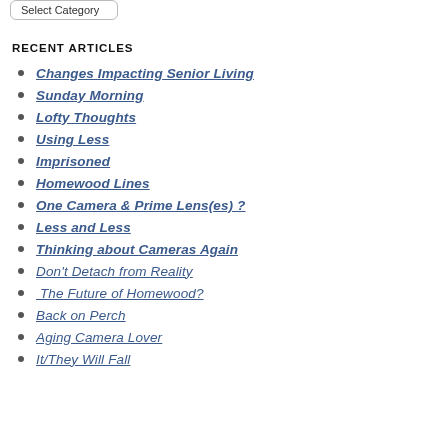Select Category
RECENT ARTICLES
Changes Impacting Senior Living
Sunday Morning
Lofty Thoughts
Using Less
Imprisoned
Homewood Lines
One Camera & Prime Lens(es) ?
Less and Less
Thinking about Cameras Again
Don't Detach from Reality
The Future of Homewood?
Back on Perch
Aging Camera Lover
It/They Will Fall